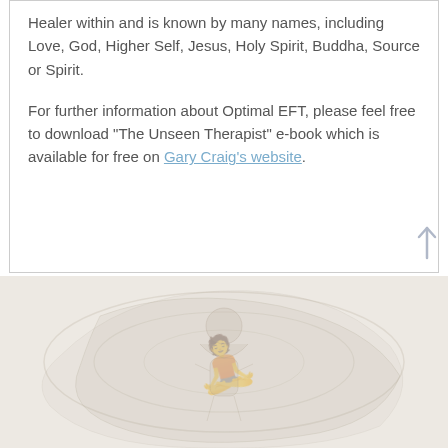Healer within and is known by many names, including Love, God, Higher Self, Jesus, Holy Spirit, Buddha, Source or Spirit.
For further information about Optimal EFT, please feel free to download "The Unseen Therapist" e-book which is available for free on Gary Craig's website.
[Figure (illustration): Light beige/cream colored footer area with a faint watermark illustration of a human figure or decorative motif in the background.]